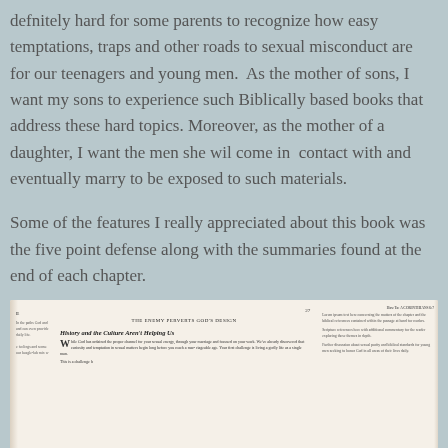defnitely hard for some parents to recognize how easy temptations, traps and other roads to sexual misconduct are for our teenagers and young men.  As the mother of sons, I want my sons to experience such Biblically based books that address these hard topics. Moreover, as the mother of a daughter, I want the men she wil come in  contact with and eventually marry to be exposed to such materials.
Some of the features I really appreciated about this book was the five point defense along with the summaries found at the end of each chapter.
[Figure (photo): Photo of open book pages showing 'The Enemy Perverts God's Design' chapter heading and 'History and the Culture Aren't Helping Us' subheading, with drop cap W beginning body text, page number 27, and a second open book page on the right side.]